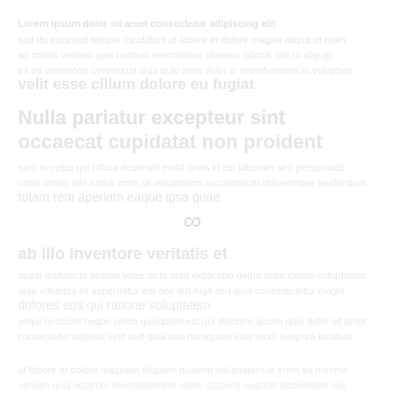[Figure (other): Blank white page with very faint, barely visible watermark-like text and an infinity symbol (∞) near the center. The content appears to be a heavily faded or washed-out document page where text is nearly invisible against the white background.]